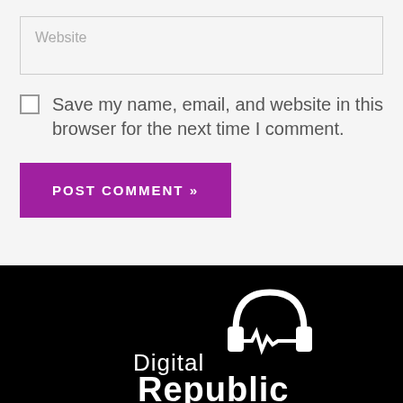Website
Save my name, email, and website in this browser for the next time I comment.
POST COMMENT »
[Figure (logo): Digital Republic logo with white headphones icon on black background, text reads 'Digital Republic']